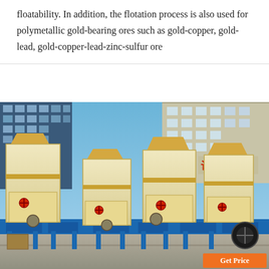floatability. In addition, the flotation process is also used for polymetallic gold-bearing ores such as gold-copper, gold-lead, gold-copper-lead-zinc-sulfur ore
[Figure (photo): Photograph of multiple large cream/yellow industrial grinding mill machines (Raymond mills) arranged outdoors on blue metal frames/bases, with industrial buildings in the background. Chinese characters visible on a building sign. A 'Get Price' orange button overlay appears in the bottom right corner.]